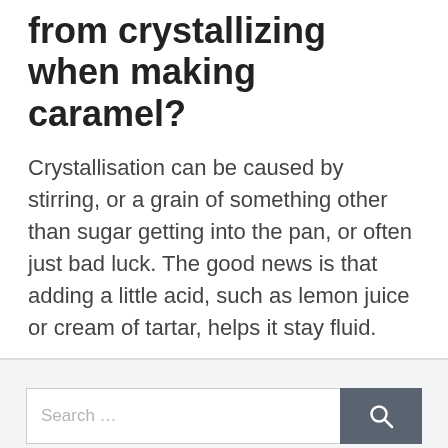from crystallizing when making caramel?
Crystallisation can be caused by stirring, or a grain of something other than sugar getting into the pan, or often just bad luck. The good news is that adding a little acid, such as lemon juice or cream of tartar, helps it stay fluid.
Categories: Frying
Search ...